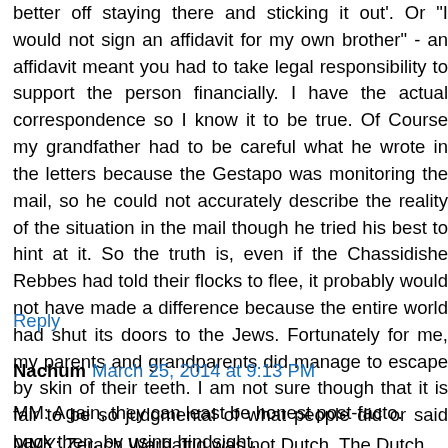better off staying there and sticking it out'. Or 'I would not sign an affidavit for my own brother' - an affidavit meant you had to take legal responsibility to support the person financially. I have the actual correspondence so I know it to be true. Of Course my grandfather had to be careful what he wrote in the letters because the Gestapo was monitoring the mail, so he could not accurately describe the reality of the situation in the mail though he tried his best to hint at it. So the truth is, even if the Chassidishe Rebbes had told their flocks to flee, it probably would not have made a difference because the entire world had shut its doors to the Jews. Fortunately for me, my parents and grandparents did manage to escape by skin of their teeth. I am not sure though that it is fair to be so judgmental of what people did or said back then, by using hindsight.
Reply
Nachum  March 25, 2014 at 9:13 PM
MM: Again, they can least be honest post-facto.
MMY: Zerach Warhaftig was not Dutch. The Dutch